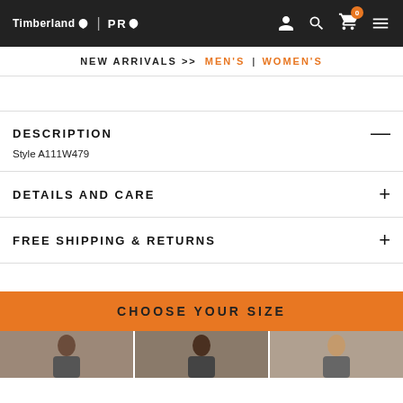Timberland PRO | Navigation with user, search, cart, menu icons
NEW ARRIVALS >> MEN'S | WOMEN'S
DESCRIPTION —
Style A111W479
DETAILS AND CARE +
FREE SHIPPING & RETURNS +
CHOOSE YOUR SIZE
[Figure (photo): Three portrait photos of models at bottom of page]